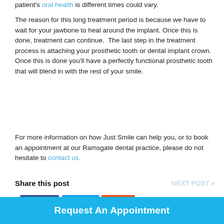patient's oral health is different times could vary.
The reason for this long treatment period is because we have to wait for your jawbone to heal around the implant. Once this is done, treatment can continue.  The last step in the treatment process is attaching your prosthetic tooth or dental implant crown. Once this is done you’ll have a perfectly functional prosthetic tooth that will blend in with the rest of your smile.
For more information on how Just Smile can help you, or to book an appointment at our Ramsgate dental practice, please do not hesitate to contact us.
Share this post
NEXT POST »
Request An Appointment